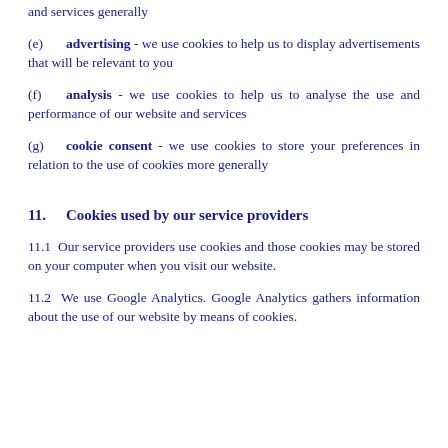and services generally
(e) advertising - we use cookies to help us to display advertisements that will be relevant to you
(f) analysis - we use cookies to help us to analyse the use and performance of our website and services
(g) cookie consent - we use cookies to store your preferences in relation to the use of cookies more generally
11. Cookies used by our service providers
11.1 Our service providers use cookies and those cookies may be stored on your computer when you visit our website.
11.2 We use Google Analytics. Google Analytics gathers information about the use of our website by means of cookies.